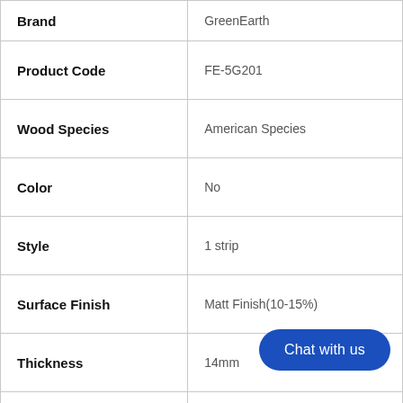| Attribute | Value |
| --- | --- |
| Brand | GreenEarth |
| Product Code | FE-5G201 |
| Wood Species | American Species |
| Color | No |
| Style | 1 strip |
| Surface Finish | Matt Finish(10-15%) |
| Thickness | 14mm |
| Dimensions | 2130 / 1820 x 185 x 14 mm |